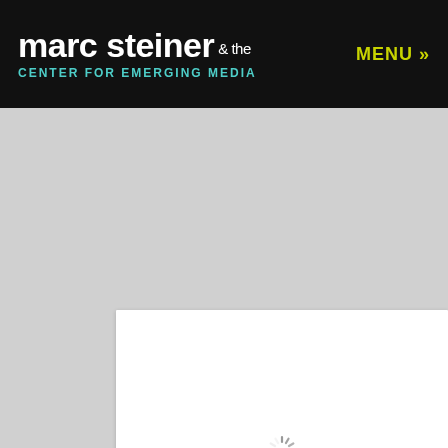marc steiner & the CENTER FOR EMERGING MEDIA — MENU »
[Figure (screenshot): White content panel with a loading spinner (circular dashed/segmented spinner) centered within it, on a grey page background]